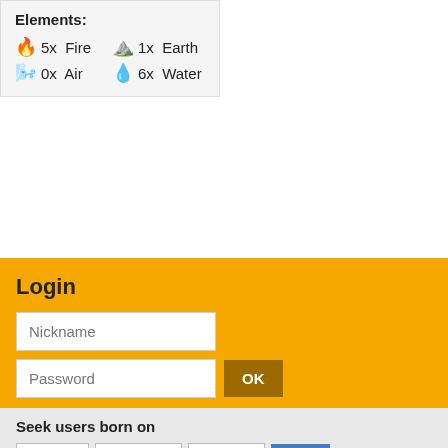Elements:
5x 🔥 Fire
1x ⛰ Earth
0x 💨 Air
6x 💧 Water
Login
Nickname (input field)
Password (input field) OK button
Register »
Seek users born on
Day ▼  Month ▼  Year ▼  OK